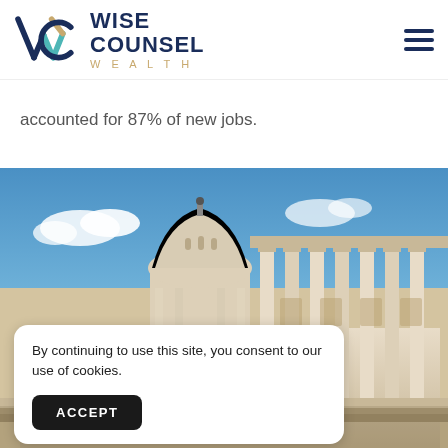Wise Counsel Wealth
accounted for 87% of new jobs.
[Figure (photo): Photograph of the United States Capitol building with blue sky and clouds in the background. The dome and classical columns are prominently visible with an American flag in the foreground.]
By continuing to use this site, you consent to our use of cookies.